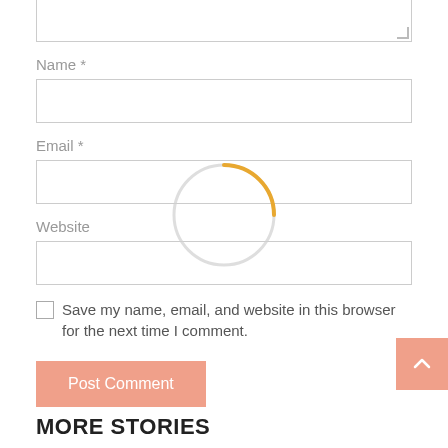[Figure (screenshot): A web comment form showing a textarea (partially visible at top), Name field with label and input box, Email field with label and input box, Website field with label and input box, a loading spinner overlay (orange arc with grey circle), a checkbox with text 'Save my name, email, and website in this browser for the next time I comment.', a salmon-colored Post Comment button, a back-to-top arrow button in the bottom right, and a MORE STORIES heading at the bottom.]
Name *
Email *
Website
Save my name, email, and website in this browser for the next time I comment.
Post Comment
MORE STORIES